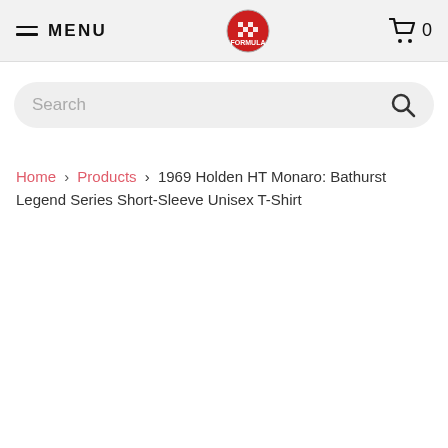MENU | [Logo] | Cart 0
[Figure (screenshot): Search bar with rounded rectangle background and magnifying glass icon on the right, placeholder text 'Search']
Home › Products › 1969 Holden HT Monaro: Bathurst Legend Series Short-Sleeve Unisex T-Shirt
1969 Holden HT Monaro: Bathurst Legend Series Short-Sleeve Unisex T-Shirt